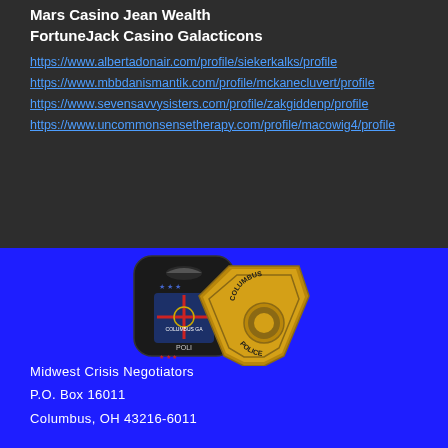Mars Casino Jean Wealth
FortuneJack Casino Galacticons
https://www.albertadonair.com/profile/siekerkalks/profile
https://www.mbbdanismantik.com/profile/mckanecluvert/profile
https://www.sevensavvysisters.com/profile/zakgiddenp/profile
https://www.uncommonsensetherapy.com/profile/macowig4/profile
[Figure (illustration): Two Columbus Police badges overlapping - a dark fabric patch badge and a gold metal shield badge]
Midwest Crisis Negotiators
P.O. Box 16011
Columbus, OH 43216-6011